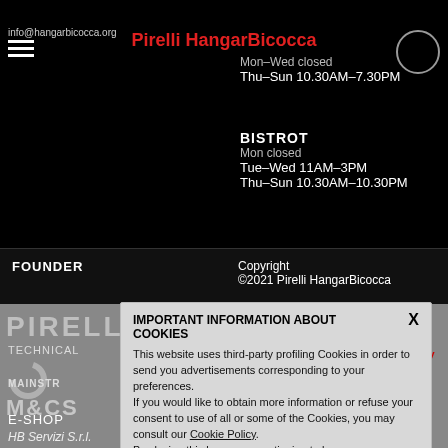info@hangarbicocca.org
Pirelli HangarBicocca
Mon–Wed closed
Thu–Sun 10.30AM–7.30PM
BISTROT
Mon closed
Tue–Wed 11AM–3PM
Thu–Sun 10.30AM–10.30PM
FOUNDER
Copyright
©2021 Pirelli HangarBicocca
[Figure (logo): Pirelli logo text in light gray on dark background]
IMPORTANT INFORMATION ABOUT COOKIES
This website uses third-party profiling Cookies in order to send you advertisements corresponding to your preferences.
If you would like to obtain more information or refuse your consent to use of all or some of the Cookies, you may consult our Cookie Policy.
By closing this banner or continuing to browse on our website and access any part of it, you consent to the use of Cookies.
TECHNICAL
Privacy Policy
MAINSTR
M&CS
E-SHOP
HB Servizi S.r.l.